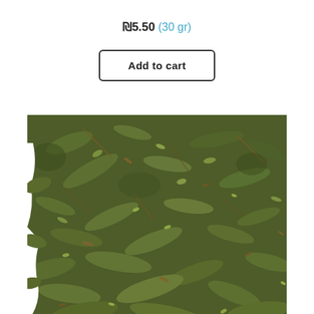₪5.50 (30 gr)
Add to cart
[Figure (photo): Close-up photo of dried green herb leaves (appears to be dried mint or similar herb), showing crumbled small leaves spread across the frame]